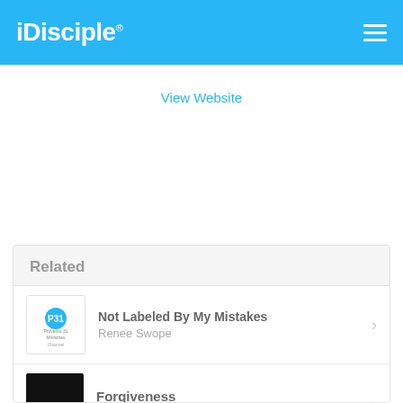iDisciple
View Website
Related
Not Labeled By My Mistakes
Renee Swope
Forgiveness
June Hunt
Imperfect Progress